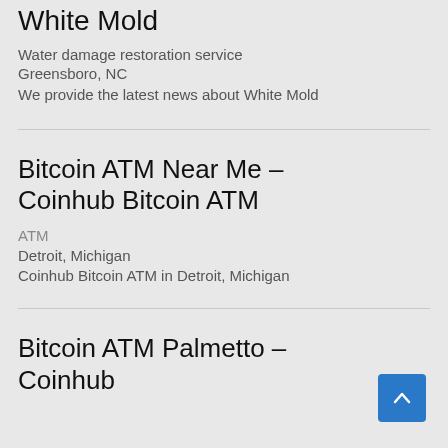White Mold
Water damage restoration service
Greensboro, NC
We provide the latest news about White Mold
Bitcoin ATM Near Me – Coinhub Bitcoin ATM
ATM
Detroit, Michigan
Coinhub Bitcoin ATM in Detroit, Michigan
Bitcoin ATM Palmetto – Coinhub